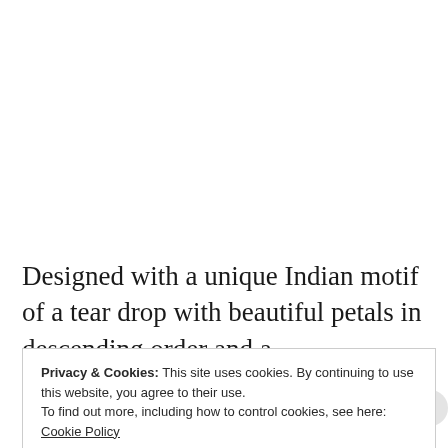Designed with a unique Indian motif of a tear drop with beautiful petals in descending order and a
Privacy & Cookies: This site uses cookies. By continuing to use this website, you agree to their use.
To find out more, including how to control cookies, see here: Cookie Policy
Close and accept